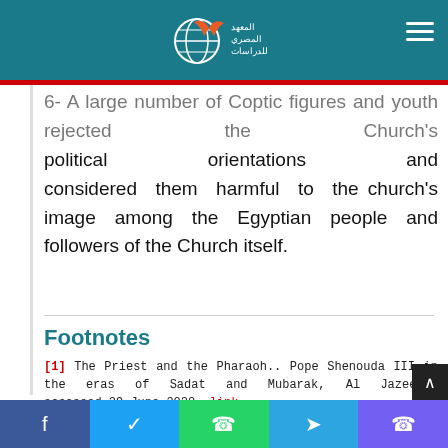Egyptian Institute for Studies — logo and navigation
6- A large number of Coptic figures and youth rejected the Church's political orientations and considered them harmful to the church's image among the Egyptian people and followers of the Church itself.
Footnotes
[1] The Priest and the Pharaoh.. Pope Shenouda III in the eras of Sadat and Mubarak, Al Jazeera, accessed 29 June 2020, link
[2] Ibid
Share bar: Facebook, Twitter, WhatsApp, Telegram, Viber